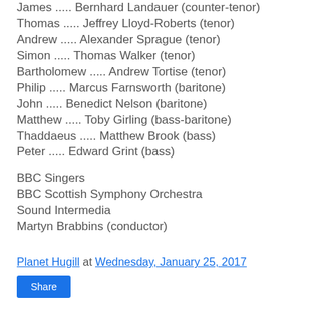James ..... Bernhard Landauer (counter-tenor)
Thomas ..... Jeffrey Lloyd-Roberts (tenor)
Andrew ..... Alexander Sprague (tenor)
Simon ..... Thomas Walker (tenor)
Bartholomew ..... Andrew Tortise (tenor)
Philip ..... Marcus Farnsworth (baritone)
John ..... Benedict Nelson (baritone)
Matthew ..... Toby Girling (bass-baritone)
Thaddaeus ..... Matthew Brook (bass)
Peter ..... Edward Grint (bass)
BBC Singers
BBC Scottish Symphony Orchestra
Sound Intermedia
Martyn Brabbins (conductor)
Planet Hugill at Wednesday, January 25, 2017
Share
No comments: